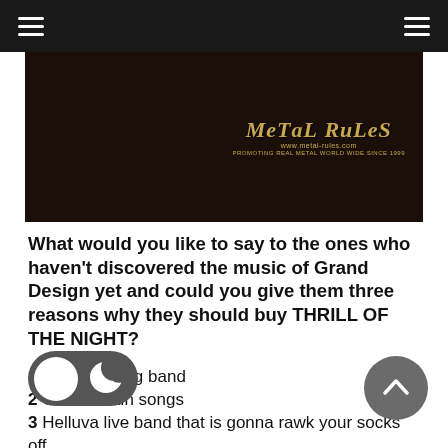Metal Rules navigation header
[Figure (photo): Dark banner image with Metal Rules logo and tagline on right side. Text reads: Metal Rules, www.metal-rules.com, Promoting Real Metal World Wide Since 1999]
What would you like to say to the ones who haven't discovered the music of Grand Design yet and could you give them three reasons why they should buy THRILL OF THE NIGHT?
1 Great looking band
2 Great fukkin songs
3 Helluva live band that is gonna rawk your socks off
Well, besides thanking you for doing the interview and wish you and the band the best